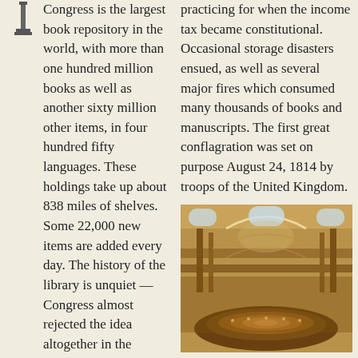Congress is the largest book repository in the world, with more than one hundred million books as well as another sixty million other items, in four hundred fifty languages. These holdings take up about 838 miles of shelves. Some 22,000 new items are added every day. The history of the library is unquiet — Congress almost rejected the idea altogether in the beginning and once it became established, certain legislators borrowed books and never
practicing for when the income tax became constitutional. Occasional storage disasters ensued, as well as several major fires which consumed many thousands of books and manuscripts. The first great conflagration was set on purpose August 24, 1814 by troops of the United Kingdom.
[Figure (photo): Interior photograph of the Main Reading Room at the Library of Congress, showing ornate arched architecture, circular layout with reading desks, and warm amber lighting.]
Main reading room at the Library of Congress